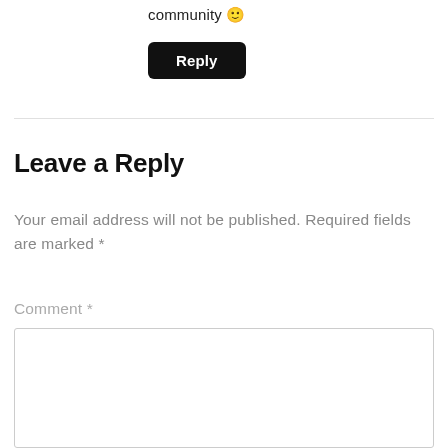community 🙂
Reply
Leave a Reply
Your email address will not be published. Required fields are marked *
Comment *